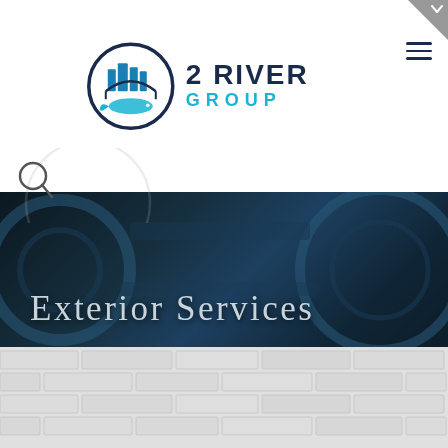2 RIVER GROUP
[Figure (logo): 2 River Group logo with circular emblem showing buildings and a fish, dark navy circle border, teal and navy text reading '2 RIVER GROUP']
[Figure (illustration): Search magnifying glass icon in upper left with a large faded circular overlay]
Exterior Services
[Figure (photo): Dark blue-toned hero banner background with mechanical/automotive imagery, overlaid with semi-transparent dark teal color wash]
[Figure (photo): White/light grey brick wall texture section]